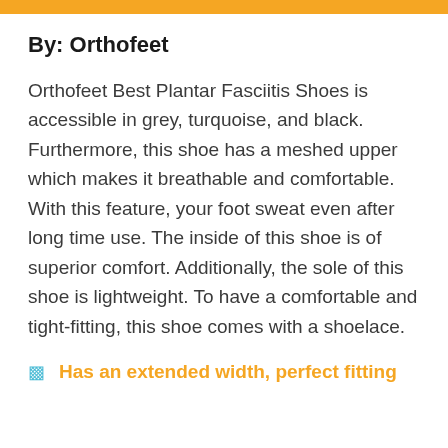By: Orthofeet
Orthofeet Best Plantar Fasciitis Shoes is accessible in grey, turquoise, and black. Furthermore, this shoe has a meshed upper which makes it breathable and comfortable. With this feature, your foot sweat even after long time use. The inside of this shoe is of superior comfort. Additionally, the sole of this shoe is lightweight. To have a comfortable and tight-fitting, this shoe comes with a shoelace.
Has an extended width, perfect fitting